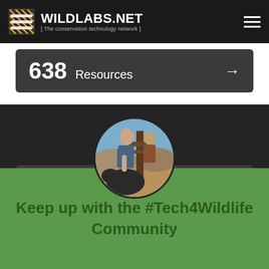WILDLABS.NET [ The conservation technology network ]
638 Resources →
[Figure (photo): Circular profile photo of Ellie Warren interacting with an animal outdoors]
Ellie Warren
WILDLABS Editor
Keep up with the #Tech4Wildlife Community